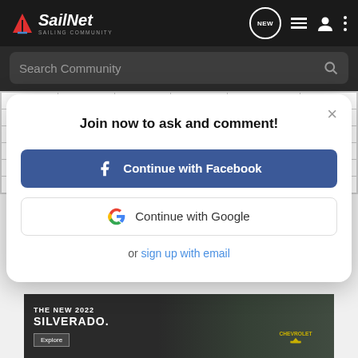[Figure (screenshot): SailNet navigation bar with logo, NEW button, list icon, user icon, and more icon]
Search Community
| 3 | 0.12 | 1/8 | 8 | 1,770 | 388 |
| 4 | 0.16 | 5/32 | 14 | 3,090 | 407 |
| 5 | 0.18 | 3/16 | 22 | 4,860 | 2243 |
| 6 | 0.24 | 1/4 | 31 | 6,845 | 3161 |
| 7 | 0.28 | 9/32 | 43 | 9,490 | 4384 |
| 8 | 0.31 | 5/16 | 56 | 12,000+ | 5710+ |
Join now to ask and comment!
Continue with Facebook
Continue with Google
or sign up with email
[Figure (photo): Chevrolet Silverado 2022 advertisement banner showing a truck in a field with text THE NEW 2022 SILVERADO. Explore button and Chevrolet logo]